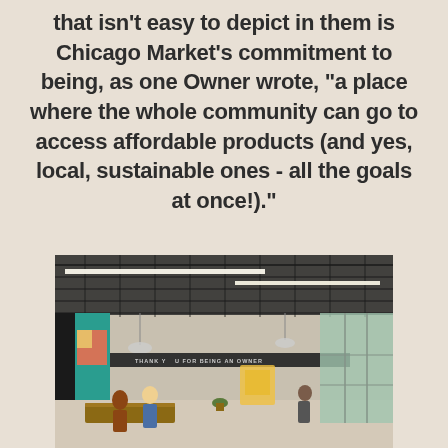that isn't easy to depict in them is Chicago Market's commitment to being, as one Owner wrote, "a place where the whole community can go to access affordable products (and yes, local, sustainable ones - all the goals at once!)."
[Figure (photo): Interior rendering of Chicago Market grocery store showing a modern open space with industrial ceiling, teal walls, pendant lighting, linear LED lights, wooden tables, people walking and sitting, large windows letting in natural light, and a sign reading 'THANK YOU FOR BEING AN OWNER']